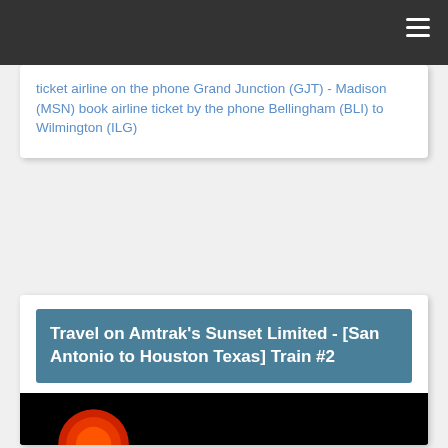Navigation bar with hamburger menu
ticket airline on the phone Grand Junction (GJT) - Madison (MSN) book airline ticket by the phone Bellingham (BLI) to Wilmington (ILG)
Travel on Amtrak's Sunset Limited - [San Antonio to Houston Texas] Train #2
[Figure (photo): Bottom portion of a thumbnail image showing a sunset with a red/orange circle (sun) against a dark background, likely the thumbnail for the Amtrak Sunset Limited article]